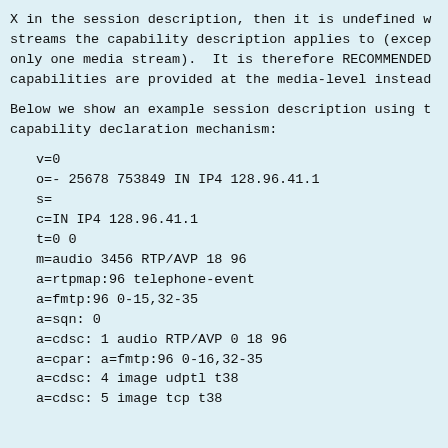X in the session description, then it is undefined w streams the capability description applies to (excep only one media stream).  It is therefore RECOMMENDED capabilities are provided at the media-level instead
Below we show an example session description using t capability declaration mechanism:
v=0
o=- 25678 753849 IN IP4 128.96.41.1
s=
c=IN IP4 128.96.41.1
t=0 0
m=audio 3456 RTP/AVP 18 96
a=rtpmap:96 telephone-event
a=fmtp:96 0-15,32-35
a=sqn: 0
a=cdsc: 1 audio RTP/AVP 0 18 96
a=cpar: a=fmtp:96 0-16,32-35
a=cdsc: 4 image udptl t38
a=cdsc: 5 image tcp t38